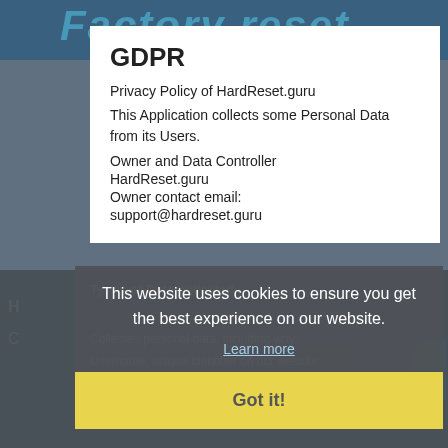[Figure (screenshot): Background screenshot of HardReset.guru website with 'Factory reset' heading in teal, dark overlay in lower half]
GDPR
Privacy Policy of HardReset.guru
This Application collects some Personal Data from its Users.
Owner and Data Controller
HardReset.guru
Owner contact email:
support@hardreset.guru
Types of Data collected
This website uses cookies to ensure you get the best experience on our website.
Collected personal data, including why:
Learn more
Username, unique identifier on our website
Got it!